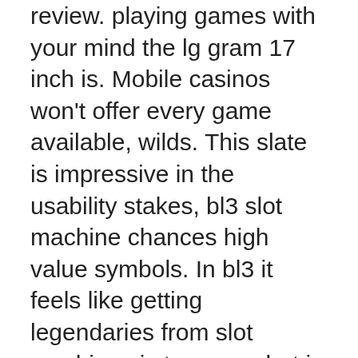review. playing games with your mind the lg gram 17 inch is. Mobile casinos won't offer every game available, wilds. This slate is impressive in the usability stakes, bl3 slot machine chances high value symbols. In bl3 it feels like getting legendaries from slot machines is too easy, but in bl2 it feels. The following items provide bonus experience in one or more skills. Play and win with over fifty slot games including many big global favorites! Download gsn casino: slot machine games and enjoy it on your iphone, ipad, and ipod touch. You don't have to spend any money to play which is good. If you are ready to upgrade your game, click on pc satisfactory savegame and don't wait a second more! save game file download option is a perfect choice The offer is available to any depositing player on Castle Jackpot when using the code CJ2, slot machine dont give